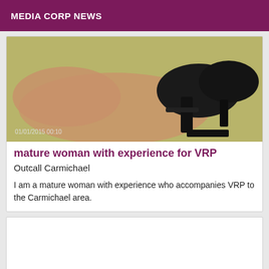MEDIA CORP NEWS
[Figure (photo): Photograph of a woman's legs wearing black high heels on a green/yellow surface, with a timestamp '01/01/2015 00:10' in the lower left corner]
mature woman with experience for VRP
Outcall Carmichael
I am a mature woman with experience who accompanies VRP to the Carmichael area.